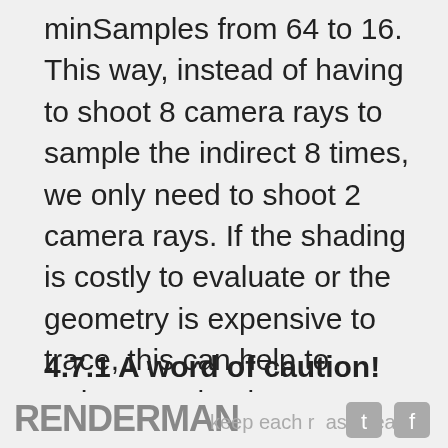minSamples from 64 to 16. This way, instead of having to shoot 8 camera rays to sample the indirect 8 times, we only need to shoot 2 camera rays. If the shading is costly to evaluate or the geometry is expensive to trace, this can help to reduce render time. But keep in mind that lowering minSamples can introduce issues as discussed above.
4.7.1 A word of caution!
The reason why all these settings are set
RENDERMAN  keep each r as chea